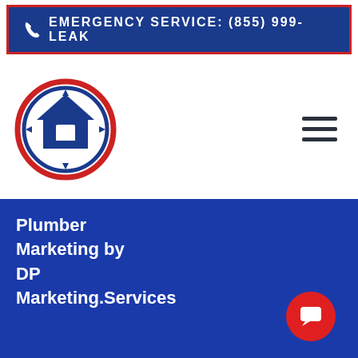EMERGENCY SERVICE: (855) 999-LEAK
[Figure (logo): Circular logo with red and navy border, house/plumber icon in center on white background]
[Figure (other): Hamburger menu icon with three dark horizontal bars]
Plumber Marketing by DP Marketing.Services
[Figure (other): Red circular chat/message button in bottom right corner]